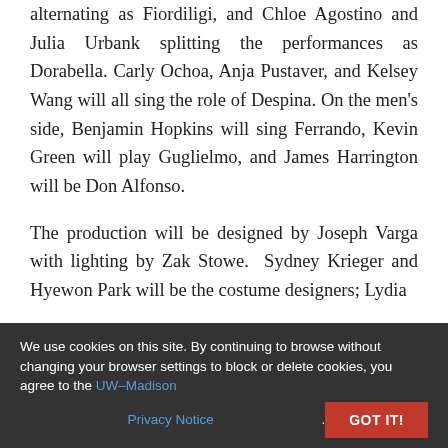alternating as Fiordiligi, and Chloe Agostino and Julia Urbank splitting the performances as Dorabella. Carly Ochoa, Anja Pustaver, and Kelsey Wang will all sing the role of Despina. On the men's side, Benjamin Hopkins will sing Ferrando, Kevin Green will play Guglielmo, and James Harrington will be Don Alfonso.
The production will be designed by Joseph Varga with lighting by Zak Stowe.  Sydney Krieger and Hyewon Park will be the costume designers; Lydia
We use cookies on this site. By continuing to browse without changing your browser settings to block or delete cookies, you agree to the UW–Madison Privacy Notice.